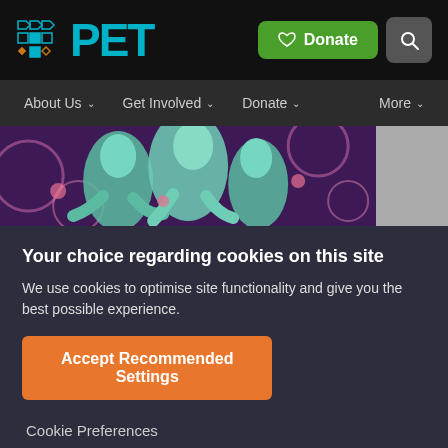[Figure (screenshot): PET website header with logo, Donate button and search icon on black background]
[Figure (screenshot): Navigation bar with About Us, Get Involved, Donate, More dropdown items on dark grey background]
[Figure (photo): Colorful artwork showing intertwined figures with teal/green palette on purple background]
Your choice regarding cookies on this site
We use cookies to optimise site functionality and give you the best possible experience.
Accept Recommended Settings
Cookie Preferences